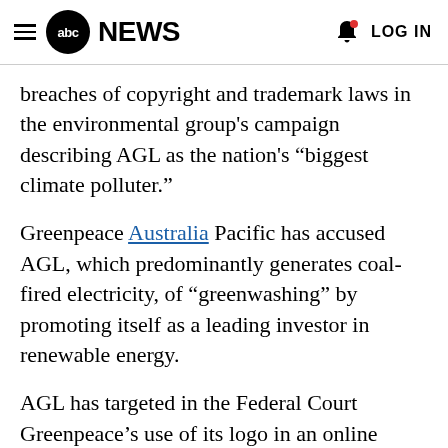abc NEWS  LOG IN
breaches of copyright and trademark laws in the environmental group's campaign describing AGL as the nation's “biggest climate polluter.”
Greenpeace Australia Pacific has accused AGL, which predominantly generates coal-fired electricity, of “greenwashing” by promoting itself as a leading investor in renewable energy.
AGL has targeted in the Federal Court Greenpeace’s use of its logo in an online advertising campaign featuring the slogan, “AGL — Australia’s Greatest Liability”